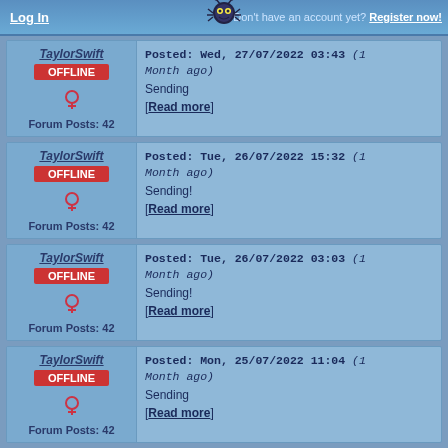Log In | Don't have an account yet? Register now!
TaylorSwift OFFLINE Forum Posts: 42 | Posted: Wed, 27/07/2022 03:43 (1 Month ago) Sending [Read more]
TaylorSwift OFFLINE Forum Posts: 42 | Posted: Tue, 26/07/2022 15:32 (1 Month ago) Sending! [Read more]
TaylorSwift OFFLINE Forum Posts: 42 | Posted: Tue, 26/07/2022 03:03 (1 Month ago) Sending! [Read more]
TaylorSwift OFFLINE Forum Posts: 42 | Posted: Mon, 25/07/2022 11:04 (1 Month ago) Sending [Read more]